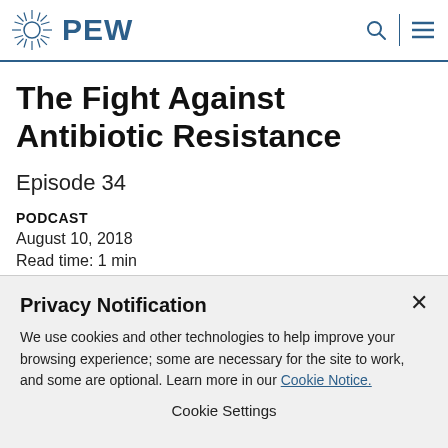PEW
The Fight Against Antibiotic Resistance
Episode 34
PODCAST
August 10, 2018
Read time: 1 min
Privacy Notification
We use cookies and other technologies to help improve your browsing experience; some are necessary for the site to work, and some are optional. Learn more in our Cookie Notice.
Cookie Settings